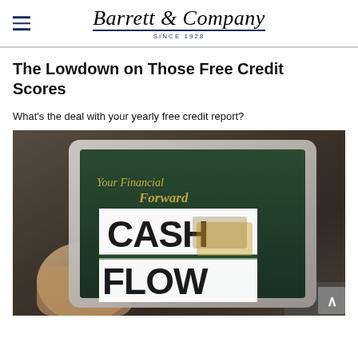Barrett & Company Since 1928
The Lowdown on Those Free Credit Scores
What's the deal with your yearly free credit report?
[Figure (photo): A person holding a tablet displaying a financial app screen with 'Your Financial Forward' and a large 'CASH FLOW' graphic overlaid in bold white text on a dark background.]